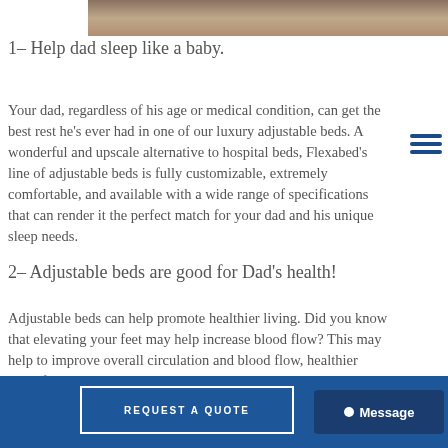[Figure (photo): Partial photo of a bed/sleeping scene at the top of the page]
1– Help dad sleep like a baby.
Your dad, regardless of his age or medical condition, can get the best rest he's ever had in one of our luxury adjustable beds. A wonderful and upscale alternative to hospital beds, Flexabed's line of adjustable beds is fully customizable, extremely comfortable, and available with a wide range of specifications that can render it the perfect match for your dad and his unique sleep needs.
2– Adjustable beds are good for Dad's health!
Adjustable beds can help promote healthier living. Did you know that elevating your feet may help increase blood flow? This may help to improve overall circulation and blood flow, healthier brain function, mental clarity, increased productivity, and might even help manage stress levels. Adjustable bed bases may also relieve back and leg
REQUEST A QUOTE   Message